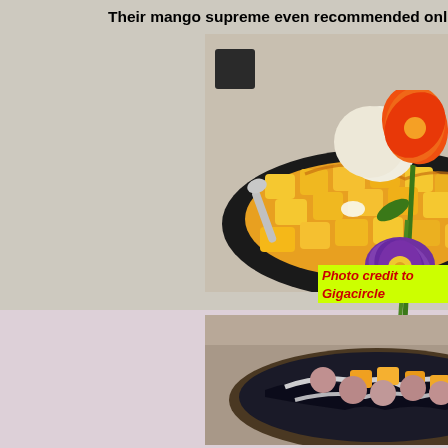Their mango supreme even recommended online!!!!
[Figure (photo): A black bowl filled with cubed mango pieces topped with a scoop of ice cream, mango sauce drizzled over, served on a dark plate. Flowers (orange and purple) visible in the background on the right side.]
Photo credit to Gigacircle
[Figure (photo): A round bowl containing black jelly (grass jelly), taro balls, mango cubes, and white cream/milk drizzled on top, served in a dark ceramic bowl.]